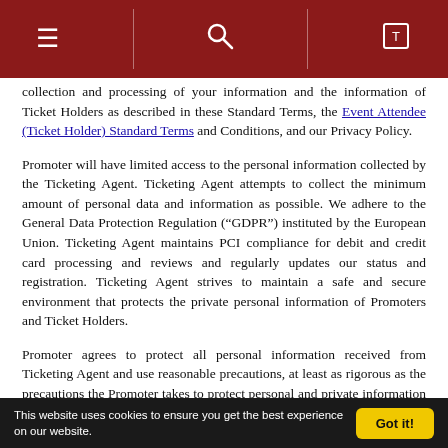[Navigation bar with menu, search, and cart icons]
collection and processing of your information and the information of Ticket Holders as described in these Standard Terms, the Event Attendee (Ticket Holder) Standard Terms and Conditions, and our Privacy Policy.
Promoter will have limited access to the personal information collected by the Ticketing Agent. Ticketing Agent attempts to collect the minimum amount of personal data and information as possible. We adhere to the General Data Protection Regulation (“GDPR”) instituted by the European Union. Ticketing Agent maintains PCI compliance for debit and credit card processing and reviews and regularly updates our status and registration. Ticketing Agent strives to maintain a safe and secure environment that protects the private personal information of Promoters and Ticket Holders.
Promoter agrees to protect all personal information received from Ticketing Agent and use reasonable precautions, at least as rigorous as the precautions the Promoter takes to protect personal and private information it directly collects from individuals and entities, to safeguard the personal information received from the Ticketing Agent. Promoter further agrees not use the personal information in any way that violates or may violate any applicable local, state, federal, European Union, or other data privacy laws or statutes. Promoter acknowledges that the Ticketing Agent adheres to the GDPR and agrees that if the Promoter sells or issues tickets to persons protected under the GDPR the
This website uses cookies to ensure you get the best experience on our website. Got it!